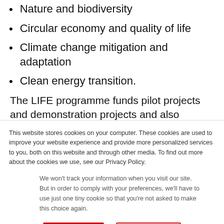Nature and biodiversity
Circular economy and quality of life
Climate change mitigation and adaptation
Clean energy transition.
The LIFE programme funds pilot projects and demonstration projects and also welcomes close-to-
This website stores cookies on your computer. These cookies are used to improve your website experience and provide more personalized services to you, both on this website and through other media. To find out more about the cookies we use, see our Privacy Policy.
We won't track your information when you visit our site. But in order to comply with your preferences, we'll have to use just one tiny cookie so that you're not asked to make this choice again.